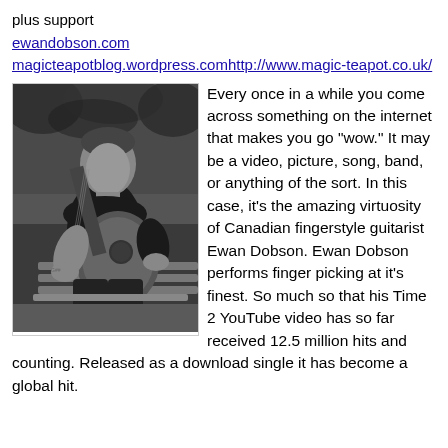plus support
ewandobson.com
magicteapotblog.wordpress.comhttp://www.magic-teapot.co.uk/
[Figure (photo): Black and white photo of a man sitting on a bench playing an acoustic guitar outdoors]
Every once in a while you come across something on the internet that makes you go "wow." It may be a video, picture, song, band, or anything of the sort. In this case, it's the amazing virtuosity of Canadian fingerstyle guitarist Ewan Dobson. Ewan Dobson performs finger picking at it's finest. So much so that his Time 2 YouTube video has so far received 12.5 million hits and counting. Released as a download single it has become a global hit.